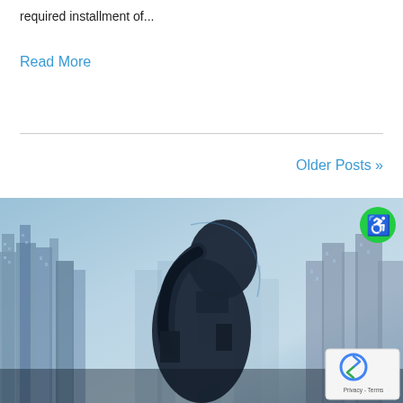required installment of...
Read More
Older Posts »
[Figure (photo): A dark silhouette of a figure with a ponytail wearing tactical/armored gear, viewed from behind/side against a blue-tinted cityscape with tall buildings in the background. A green accessibility icon button appears in the upper right corner, and a reCAPTCHA badge appears in the lower right corner.]